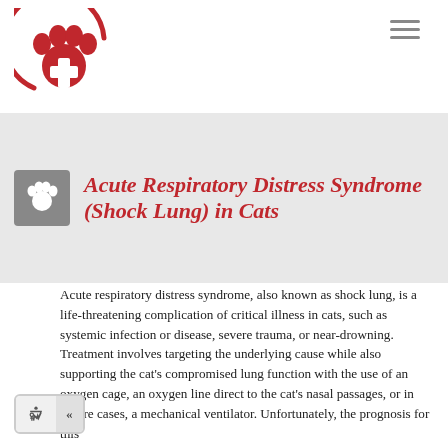[Figure (logo): Veterinary pet emergency logo: red paw print with white cross inside, partial red circle arc around it, on white background]
Acute Respiratory Distress Syndrome (Shock Lung) in Cats
Acute respiratory distress syndrome, also known as shock lung, is a life-threatening complication of critical illness in cats, such as systemic infection or disease, severe trauma, or near-drowning. Treatment involves targeting the underlying cause while also supporting the cat's compromised lung function with the use of an oxygen cage, an oxygen line direct to the cat's nasal passages, or in severe cases, a mechanical ventilator. Unfortunately, the prognosis for this